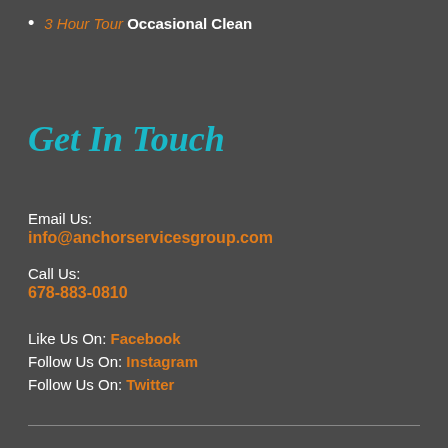3 Hour Tour Occasional Clean
Get In Touch
Email Us:
info@anchorservicesgroup.com
Call Us:
678-883-0810
Like Us On: Facebook
Follow Us On: Instagram
Follow Us On: Twitter